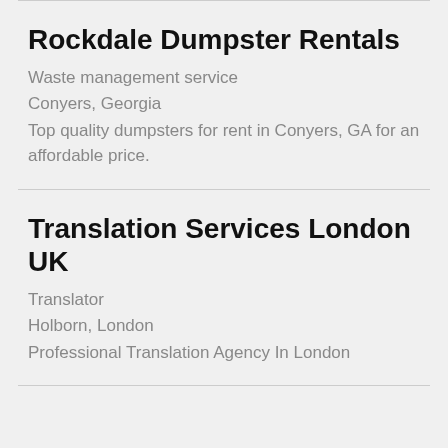Rockdale Dumpster Rentals
Waste management service
Conyers, Georgia
Top quality dumpsters for rent in Conyers, GA for an affordable price.
Translation Services London UK
Translator
Holborn, London
Professional Translation Agency In London